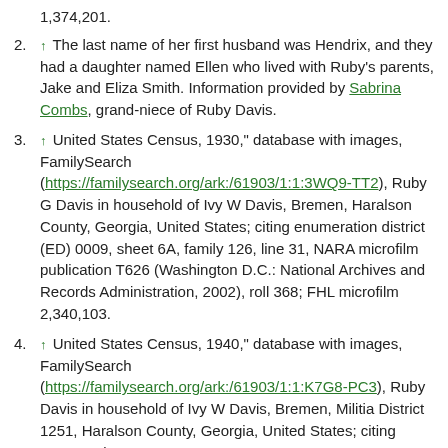1,374,201.
2. ↑ The last name of her first husband was Hendrix, and they had a daughter named Ellen who lived with Ruby's parents, Jake and Eliza Smith. Information provided by Sabrina Combs, grand-niece of Ruby Davis.
3. ↑ United States Census, 1930," database with images, FamilySearch (https://familysearch.org/ark:/61903/1:1:3WQ9-TT2), Ruby G Davis in household of Ivy W Davis, Bremen, Haralson County, Georgia, United States; citing enumeration district (ED) 0009, sheet 6A, family 126, line 31, NARA microfilm publication T626 (Washington D.C.: National Archives and Records Administration, 2002), roll 368; FHL microfilm 2,340,103.
4. ↑ United States Census, 1940," database with images, FamilySearch (https://familysearch.org/ark:/61903/1:1:K7G8-PC3), Ruby Davis in household of Ivy W Davis, Bremen, Militia District 1251, Haralson County, Georgia, United States; citing enumeration